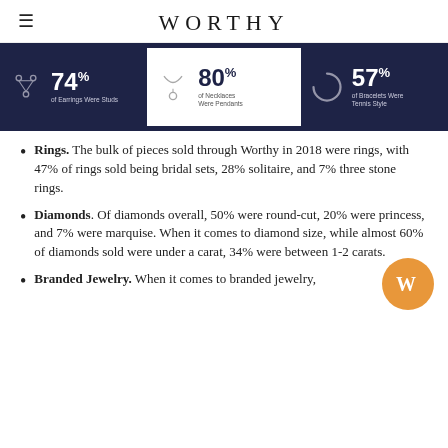WORTHY
[Figure (infographic): Three infographic panels: 74% of Earrings Were Studs (dark navy background with earring icon), 80% of Necklaces Were Pendants (white background, necklace icon), 57% of Bracelets Were Tennis Style (dark navy background, bracelet icon)]
Rings. The bulk of pieces sold through Worthy in 2018 were rings, with 47% of rings sold being bridal sets, 28% solitaire, and 7% three stone rings.
Diamonds. Of diamonds overall, 50% were round-cut, 20% were princess, and 7% were marquise. When it comes to diamond size, while almost 60% of diamonds sold were under a carat, 34% were between 1-2 carats.
Branded Jewelry. When it comes to branded jewelry,